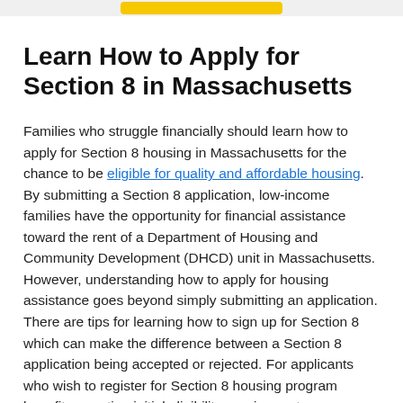Learn How to Apply for Section 8 in Massachusetts
Families who struggle financially should learn how to apply for Section 8 housing in Massachusetts for the chance to be eligible for quality and affordable housing. By submitting a Section 8 application, low-income families have the opportunity for financial assistance toward the rent of a Department of Housing and Community Development (DHCD) unit in Massachusetts. However, understanding how to apply for housing assistance goes beyond simply submitting an application. There are tips for learning how to sign up for Section 8 which can make the difference between a Section 8 application being accepted or rejected. For applicants who wish to register for Section 8 housing program benefits, meeting initial eligibility requirements